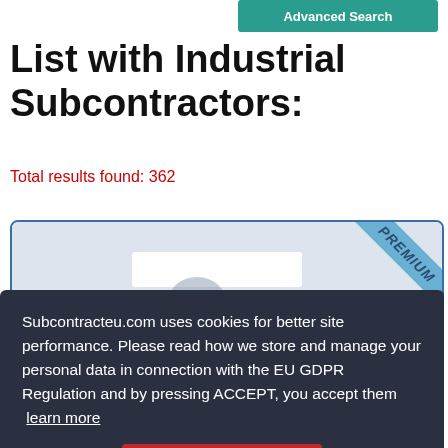Advanced Search
List with Industrial Subcontractors:
Total results found: 362
[Figure (screenshot): A card for a premium-listed industrial subcontractor with a blue PREMIUM badge in the top right corner, partially obscured by a cookie consent overlay.]
Subcontracteu.com uses cookies for better site performance. Please read how we store and manage your personal data in connection with the EU GDPR Regulation and by pressing ACCEPT, you accept them learn more
ACCEPT
Contact this company